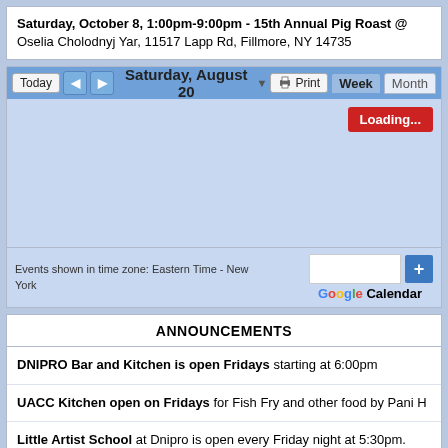Saturday, October 8, 1:00pm-9:00pm - 15th Annual Pig Roast @ Oselia Cholodnyj Yar, 11517 Lapp Rd, Fillmore, NY 14735
[Figure (screenshot): Google Calendar widget showing Saturday, August 20 with a loading indicator, week/month view buttons, and a Google Calendar add button. Body shows a light blue calendar area with 'Loading...' badge in red.]
ANNOUNCEMENTS
DNIPRO Bar and Kitchen is open Fridays starting at 6:00pm
UACC Kitchen open on Fridays for Fish Fry and other food by Pani H
Little Artist School at Dnipro is open every Friday night at 5:30pm.